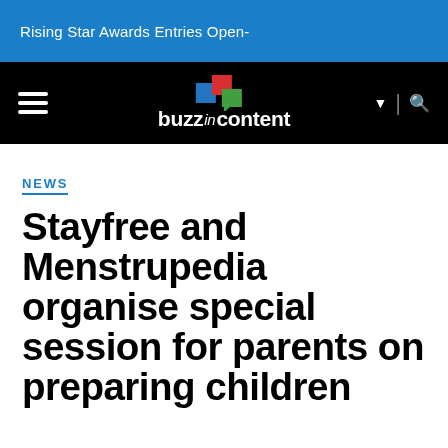Rising Star Awards Entries Open-
[Figure (logo): BuzzInContent logo with colored speech bubble squares and wordmark on black navigation bar]
NEWS
Stayfree and Menstrupedia organise special session for parents on preparing children